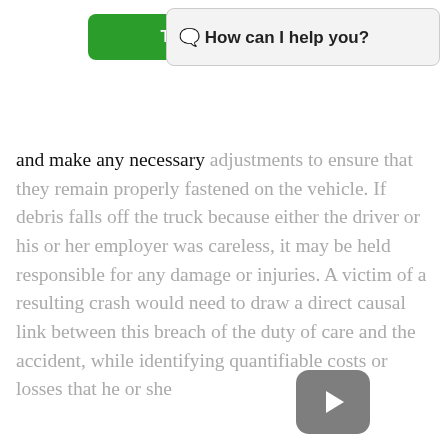[Figure (screenshot): Green 'Tap To Call' button at top of page]
[Figure (screenshot): Chat popup overlay with text 'How can I help you?']
and make any necessary adjustments to ensure that they remain properly fastened on the vehicle. If debris falls off the truck because either the driver or his or her employer was careless, it may be held responsible for any damage or injuries. A victim of a resulting crash would need to draw a direct causal link between this breach of the duty of care and the accident, while identifying quantifiable costs or losses that he or she incurred.
[Figure (screenshot): Video play button overlay (gray rounded rectangle with triangle play icon)]
[Figure (screenshot): Green phone/call circular button on left side]
...e is sometimes involved, damaged, lost, or delayed in high-stakes transactions. Authorities may prevent this unlawful conduct by taking regulatory action after a crash. However, a party that tampers with evidence can face sanctions brought to the attention of the court. Possible penalties include an ...
Car Accident
Personal Injury (All kinds)
Slip & Fall